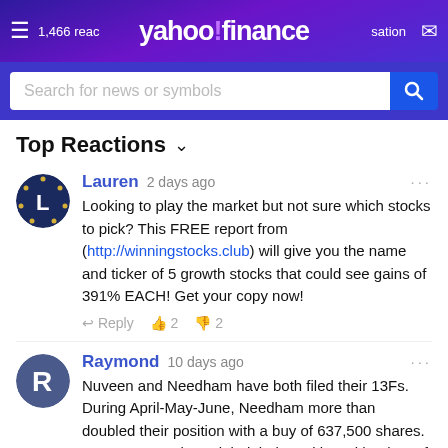yahoo! finance — 1,466 reactions — conversation
Search for news or symbols
Top Reactions
Lauren  2 days ago
Looking to play the market but not sure which stocks to pick? This FREE report from (http://winningstocks.club) will give you the name and ticker of 5 growth stocks that could see gains of 391% EACH! Get your copy now!
Reply  2  2
Raymond  10 days ago
Nuveen and Needham have both filed their 13Fs. During April-May-June, Needham more than doubled their position with a buy of 637,500 shares. Nuveen more than tripled their position with a buy of